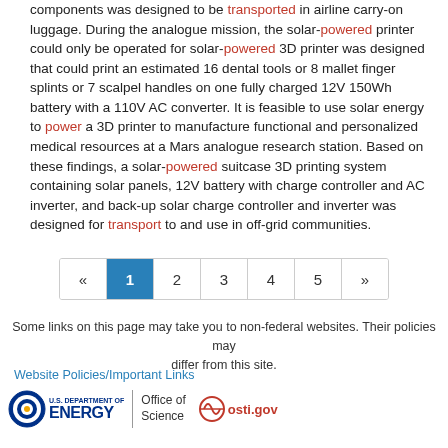components was designed to be transported in airline carry-on luggage. During the analogue mission, the solar-powered printer could only be operated for solar-powered 3D printer was designed that could print an estimated 16 dental tools or 8 mallet finger splints or 7 scalpel handles on one fully charged 12V 150Wh battery with a 110V AC converter. It is feasible to use solar energy to power a 3D printer to manufacture functional and personalized medical resources at a Mars analogue research station. Based on these findings, a solar-powered suitcase 3D printing system containing solar panels, 12V battery with charge controller and AC inverter, and back-up solar charge controller and inverter was designed for transport to and use in off-grid communities.
[Figure (other): Pagination bar with page numbers «, 1 (active/highlighted), 2, 3, 4, 5, »]
Some links on this page may take you to non-federal websites. Their policies may differ from this site.
Website Policies/Important Links
[Figure (logo): U.S. Department of Energy logo with circular emblem, ENERGY text, divider, Office of Science text, and osti.gov logo]